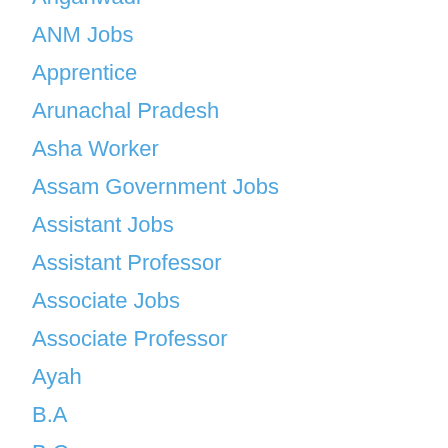Anganwadi
ANM Jobs
Apprentice
Arunachal Pradesh
Asha Worker
Assam Government Jobs
Assistant Jobs
Assistant Professor
Associate Jobs
Associate Professor
Ayah
B.A
B.Com
B.Ed